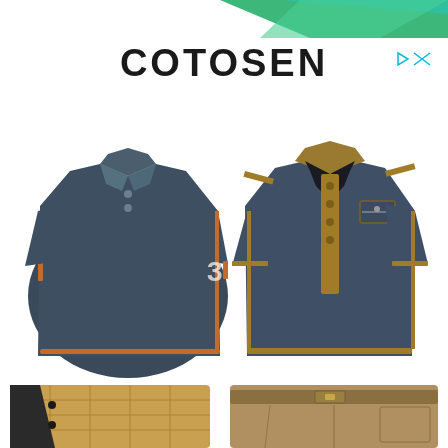[Figure (photo): Top banner with green and teal diagonal graphic/logo partially visible at top of page]
COTOSEN
[Figure (photo): Ad indicator icon: play triangle and X in cyan/teal color]
[Figure (photo): Two gaming/tactical styled t-shirts displayed side by side. Left: dark navy polo shirt with orange trim accents. Right: dark navy henley-style shirt with gold/tan trim, buttons down the front and a zipper chest pocket.]
[Figure (photo): Bottom row showing partial views of two more clothing items: left is a quilted tan/brown jacket, right is tan cargo/tactical pants with a belt.]